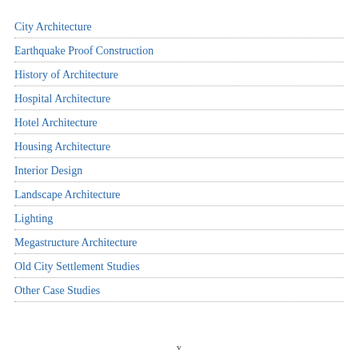City Architecture
Earthquake Proof Construction
History of Architecture
Hospital Architecture
Hotel Architecture
Housing Architecture
Interior Design
Landscape Architecture
Lighting
Megastructure Architecture
Old City Settlement Studies
Other Case Studies
v